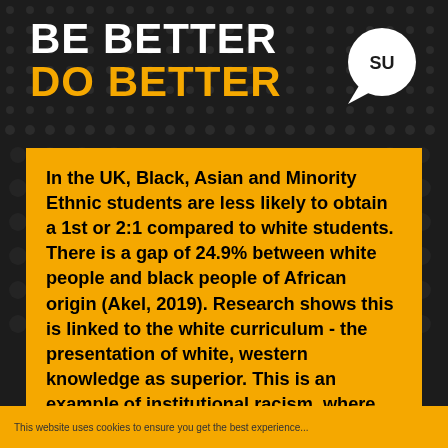BE BETTER
DO BETTER
[Figure (logo): Keele SU logo — white speech bubble with 'SU' text and 'Keele' written vertically]
In the UK, Black, Asian and Minority Ethnic students are less likely to obtain a 1st or 2:1 compared to white students. There is a gap of 24.9% between white people and black people of African origin (Akel, 2019). Research shows this is linked to the white curriculum - the presentation of white, western knowledge as superior. This is an example of institutional racism, where people benefit from institutional structures which disadvantage people of colour. This means even if there were no
This website uses cookies to ensure you get the best experience...